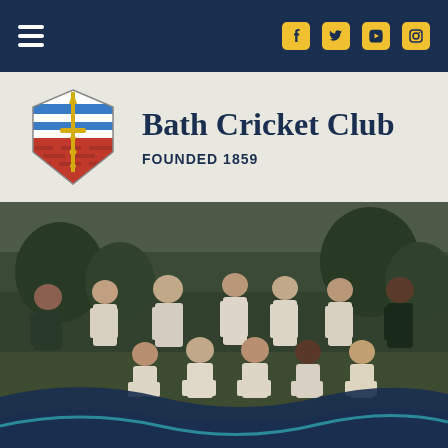Bath Cricket Club — Navigation bar with hamburger menu and social icons (Facebook, Twitter, YouTube, Instagram)
[Figure (logo): Bath Cricket Club shield logo with blue/white wave stripes, red brick base, and gold sword]
Bath Cricket Club
FOUNDED 1859
[Figure (photo): Cricket team photo showing 11 players in white cricket uniforms plus one coach in dark tracksuit, posed in two rows on a cricket ground with trees in background]